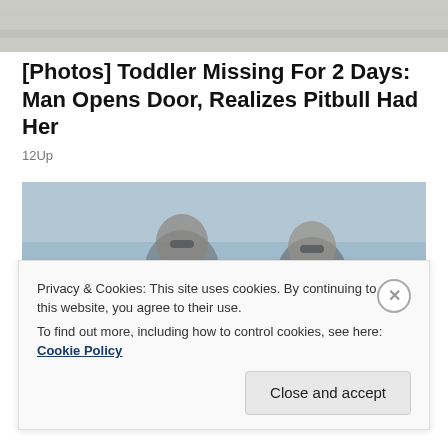[Figure (photo): Faded/washed out background photo at top of page]
[Photos] Toddler Missing For 2 Days: Man Opens Door, Realizes Pitbull Had Her
12Up
[Figure (photo): Photo of two people wearing sunglasses, washed out with blue-gray overlay]
Privacy & Cookies: This site uses cookies. By continuing to use this website, you agree to their use.
To find out more, including how to control cookies, see here: Cookie Policy
Close and accept